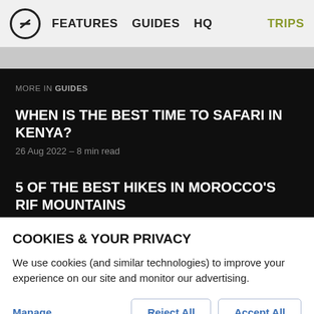FEATURES   GUIDES   HQ   TRIPS
MORE IN GUIDES
WHEN IS THE BEST TIME TO SAFARI IN KENYA?
26 Aug 2022 – 8 min read
5 OF THE BEST HIKES IN MOROCCO'S RIF MOUNTAINS
26 Aug 2022 – 6 min read
COOKIES & YOUR PRIVACY
We use cookies (and similar technologies) to improve your experience on our site and monitor our advertising.
Manage   Reject All   Accept All